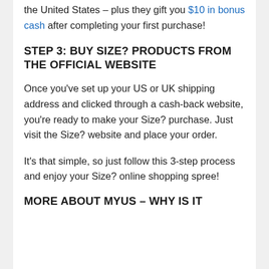the United States – plus they gift you $10 in bonus cash after completing your first purchase!
STEP 3: BUY SIZE? PRODUCTS FROM THE OFFICIAL WEBSITE
Once you've set up your US or UK shipping address and clicked through a cash-back website, you're ready to make your Size? purchase. Just visit the Size? website and place your order.
It's that simple, so just follow this 3-step process and enjoy your Size? online shopping spree!
MORE ABOUT MYUS – WHY IS IT